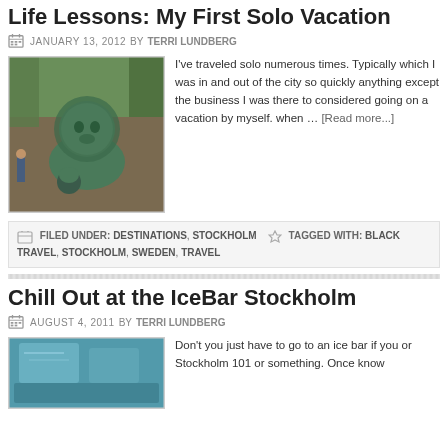Life Lessons: My First Solo Vacation
JANUARY 13, 2012 BY TERRI LUNDBERG
[Figure (photo): Bronze lion statue in a park or urban setting]
I've traveled solo numerous times. Typically which I was in and out of the city so quickly anything except the business I was there to considered going on a vacation by myself. when … [Read more...]
FILED UNDER: DESTINATIONS, STOCKHOLM TAGGED WITH: BLACK TRAVEL, STOCKHOLM, SWEDEN, TRAVEL
Chill Out at the IceBar Stockholm
AUGUST 4, 2011 BY TERRI LUNDBERG
[Figure (photo): Ice bar interior with blue-tinted icy surfaces]
Don't you just have to go to an ice bar if you or Stockholm 101 or something. Once know